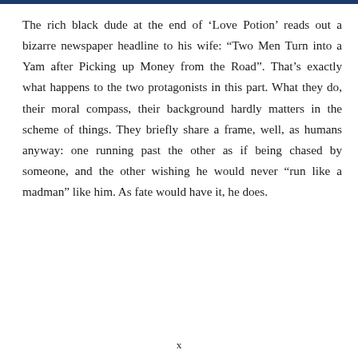The rich black dude at the end of ‘Love Potion’ reads out a bizarre newspaper headline to his wife: “Two Men Turn into a Yam after Picking up Money from the Road”. That’s exactly what happens to the two protagonists in this part. What they do, their moral compass, their background hardly matters in the scheme of things. They briefly share a frame, well, as humans anyway: one running past the other as if being chased by someone, and the other wishing he would never “run like a madman” like him. As fate would have it, he does.
x